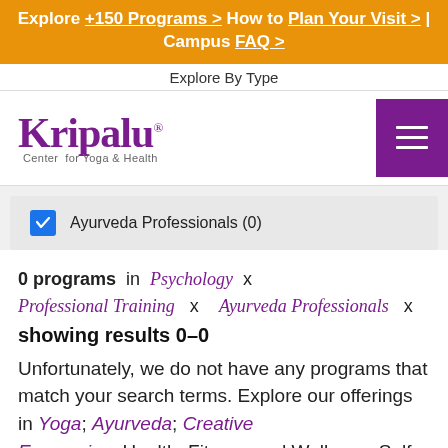Explore +150 Programs > How to Plan Your Visit > | Campus FAQ >
Explore By Type
[Figure (logo): Kripalu Center for Yoga & Health logo with purple text]
Ayurveda Professionals (0) — checked checkbox filter
0 programs in Psychology x Professional Training x Ayurveda Professionals x showing results 0–0
Unfortunately, we do not have any programs that match your search terms. Explore our offerings in Yoga; Ayurveda; Creative Expression; Health, Fitness and Wellness; Self...